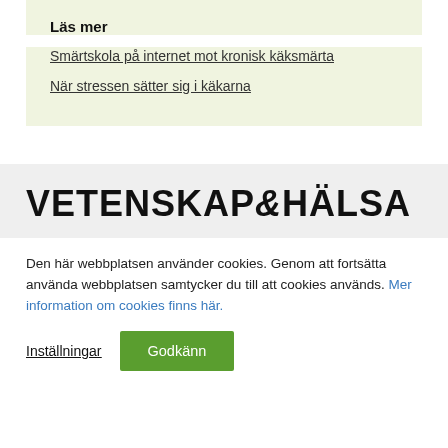Läs mer
Smärtskola på internet mot kronisk käksmärta
När stressen sätter sig i käkarna
[Figure (logo): Vetenskap & Hälsa logotype in bold black uppercase letters]
Den här webbplatsen använder cookies. Genom att fortsätta använda webbplatsen samtycker du till att cookies används. Mer information om cookies finns här.
Inställningar  Godkänn